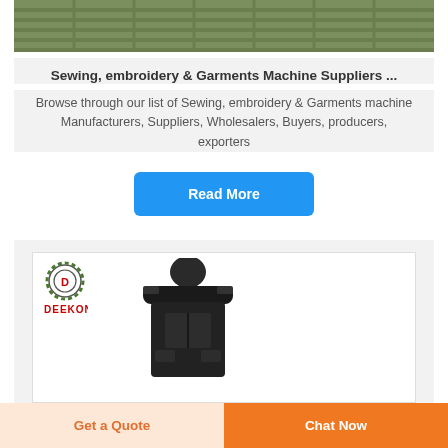[Figure (photo): Olive/khaki tactical vest or bag product image shown from the back, top portion visible]
Sewing, embroidery & Garments Machine Suppliers ...
Browse through our list of Sewing, embroidery & Garments machine Manufacturers, Suppliers, Wholesalers, Buyers, producers, exporters
Read More
[Figure (photo): Black tactical vest on mannequin with Deekon logo (circular emblem with D and camouflage pattern) and red DEEKON brand text in upper left]
Get a Quote
Chat Now